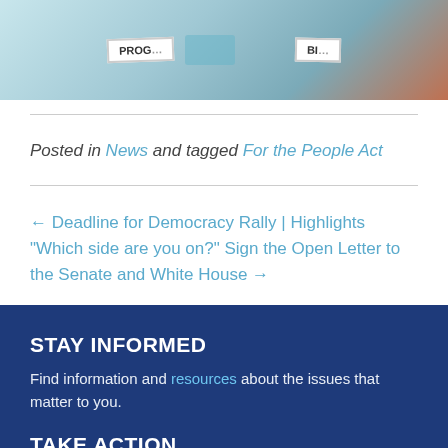[Figure (photo): Photo of protest signs on a brick surface, partially visible, with teal/blue background]
Posted in News and tagged For the People Act
← Deadline for Democracy Rally | Highlights "Which side are you on?" Sign the Open Letter to the Senate and White House →
STAY INFORMED
Find information and resources about the issues that matter to you.
TAKE ACTION
Use Action Updates to identify critical needs and make your voice heard.